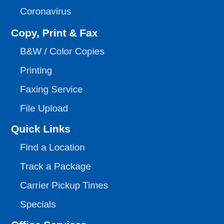Coronavirus
Copy, Print & Fax
B&W / Color Copies
Printing
Faxing Service
File Upload
Quick Links
Find a Location
Track a Package
Carrier Pickup Times
Specials
Office Services
Notary Public
Passport Photos